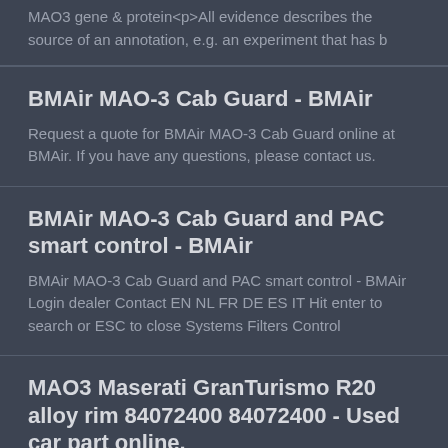MAO3 gene & protein<p>All evidence describes the source of an annotation, e.g. an experiment that has b
BMAir MAO-3 Cab Guard - BMAir
Request a quote for BMAir MAO-3 Cab Guard online at BMAir. If you have any questions, please contact us.
BMAir MAO-3 Cab Guard and PAC smart control - BMAir
BMAir MAO-3 Cab Guard and PAC smart control - BMAir Login dealer Contact EN NL FR DE ES IT Hit enter to search or ESC to close Systems Filters Control
MAO3 Maserati GranTurismo R20 alloy rim 84072400 84072400 - Used car part online,